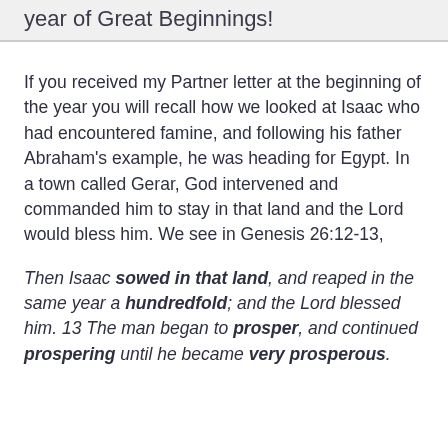year of Great Beginnings!
If you received my Partner letter at the beginning of the year you will recall how we looked at Isaac who had encountered famine, and following his father Abraham’s example, he was heading for Egypt. In a town called Gerar, God intervened and commanded him to stay in that land and the Lord would bless him. We see in Genesis 26:12-13,
Then Isaac sowed in that land, and reaped in the same year a hundredfold; and the Lord blessed him. 13 The man began to prosper, and continued prospering until he became very prosperous.